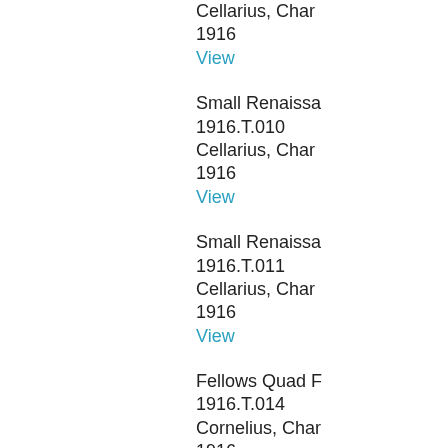Cellarius, Char
1916
View
Small Renaissa
1916.T.010
Cellarius, Char
1916
View
Small Renaissa
1916.T.011
Cellarius, Char
1916
View
Fellows Quad F
1916.T.014
Cornelius, Char
1916
View
Fellows Quad F
1916.T.015
Cornelius, Char